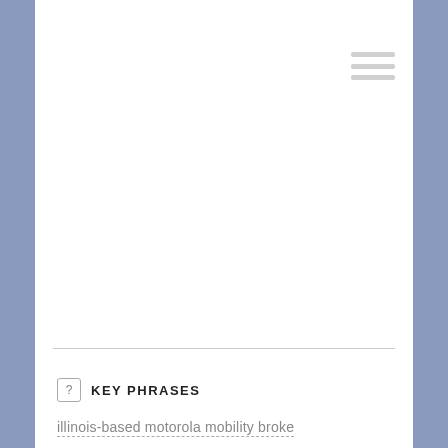[Figure (other): Hamburger menu icon with three horizontal gray lines in the upper right corner of the white content card]
KEY PHRASES
illinois-based motorola mobility broke